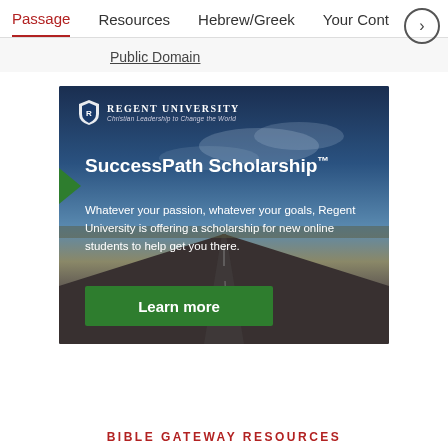Passage  Resources  Hebrew/Greek  Your Cont…
Public Domain
[Figure (illustration): Regent University SuccessPath Scholarship advertisement. Dark blue background with road perspective. University logo with shield at top. Green arrow marker. Headline: SuccessPath Scholarship™. Body text: Whatever your passion, whatever your goals, Regent University is offering a scholarship for new online students to help get you there. Green 'Learn more' button at bottom left.]
BIBLE GATEWAY RESOURCES